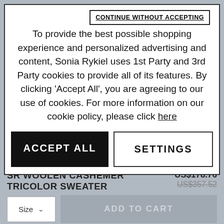CONTINUE WITHOUT ACCEPTING
To provide the best possible shopping experience and personalized advertising and content, Sonia Rykiel uses 1st Party and 3rd Party cookies to provide all of its features. By clicking 'Accept All', you are agreeing to our use of cookies. For more information on our cookie policy, please click here
ACCEPT ALL
SETTINGS
SR WOOLEN CASHEMER TRICOLOR SWEATER
US$178.76
US$357.52
Size
ADD TO CART
Scheduled delivery from September 01.